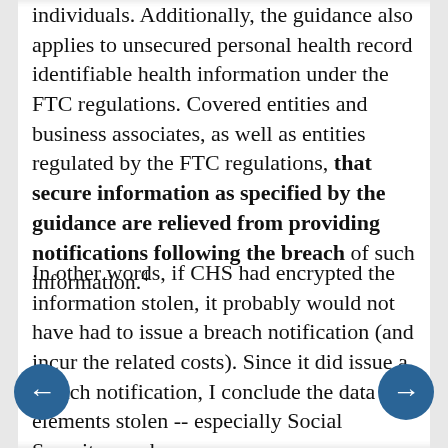individuals. Additionally, the guidance also applies to unsecured personal health record identifiable health information under the FTC regulations. Covered entities and business associates, as well as entities regulated by the FTC regulations, that secure information as specified by the guidance are relieved from providing notifications following the breach of such information.
In other words, if CHS had encrypted the information stolen, it probably would not have had to issue a breach notification (and incur the related costs). Since it did issue a breach notification, I conclude the data elements stolen -- especially Social Security numbers --